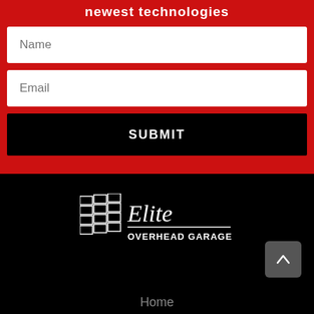newest technologies
[Figure (screenshot): Web form with Name field, Email field, and SUBMIT button on a red background]
[Figure (logo): Elite Overhead Garage Doors logo: stylized garage door panels icon on left, script 'Elite' text, and 'OVERHEAD GARAGE DOORS' in bold caps below, all in white on black background]
Home